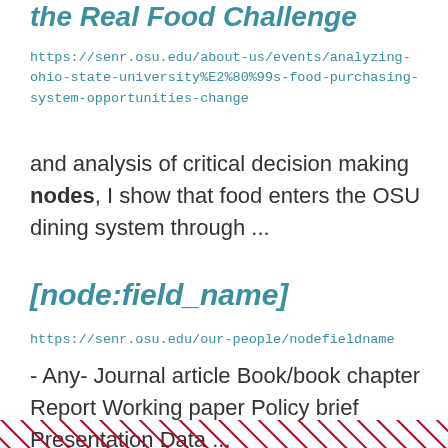the Real Food Challenge
https://senr.osu.edu/about-us/events/analyzing-ohio-state-university%E2%80%99s-food-purchasing-system-opportunities-change
and analysis of critical decision making nodes, I show that food enters the OSU dining system through ...
[node:field_name]
https://senr.osu.edu/our-people/nodefieldname
- Any- Journal article Book/book chapter Report Working paper Policy brief Presentation Data ...